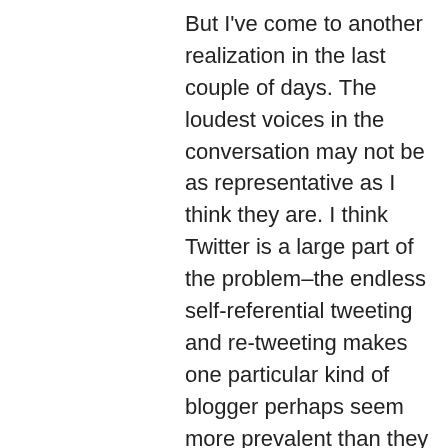But I've come to another realization in the last couple of days. The loudest voices in the conversation may not be as representative as I think they are. I think Twitter is a large part of the problem–the endless self-referential tweeting and re-tweeting makes one particular kind of blogger perhaps seem more prevalent than they actually are. Even in the aftermath of this post while some remain focused on the propriety of my comments (a dodge if there ever was one) I've heard from far more bloggers who while they don't agree with everything I've said are sympathetic to the general thrust of these posts. So it may be that with proper calibration of antennae the signal/noise ratio can be optimized.